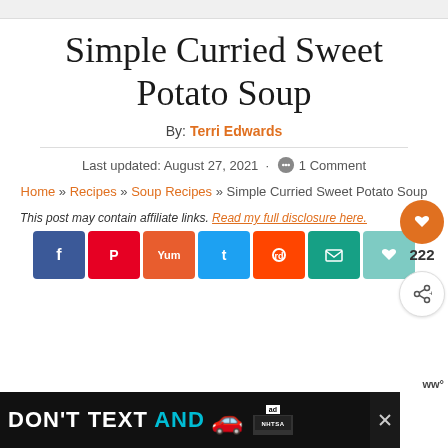Simple Curried Sweet Potato Soup
By: Terri Edwards
Last updated: August 27, 2021 · 1 Comment
Home » Recipes » Soup Recipes » Simple Curried Sweet Potato Soup
This post may contain affiliate links. Read my full disclosure here.
[Figure (other): Social sharing buttons: Facebook, Pinterest, Yummly, Twitter, Reddit, Email, Favorite, and more]
[Figure (other): NHTSA advertisement banner: DON'T TEXT AND [car emoji] ad with close button]